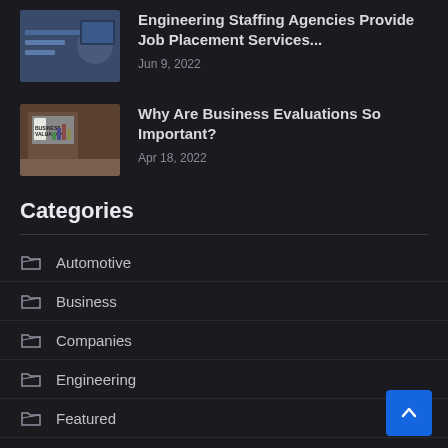[Figure (photo): Thumbnail image of people working, related to engineering staffing]
Engineering Staffing Agencies Provide Job Placement Services...
Jun 9, 2022
[Figure (photo): Thumbnail image showing a tablet with 'Business Valuation' text and charts on a desk]
Why Are Business Evaluations So Important?
Apr 18, 2022
Categories
Automotive
Business
Companies
Engineering
Featured
Industry